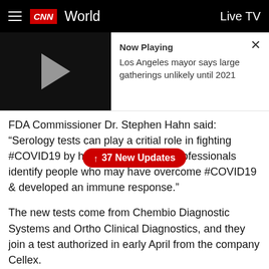CNN World | Live TV
[Figure (screenshot): Video thumbnail with play button showing a black background and a grey play triangle icon, alongside 'Now Playing' text and title 'Los Angeles mayor says large gatherings unlikely until 2021']
FDA Commissioner Dr. Stephen Hahn said: "Serology tests can play a critical role in fighting #COVID19 by helping health care professionals identify people who may have overcome #COVID19 & developed an immune response."
↑ 37 New Updates
The new tests come from Chembio Diagnostic Systems and Ortho Clinical Diagnostics, and they join a test authorized in early April from the company Cellex.
The nation's top infectious disease expert, Dr. Anthony Fauci, hinted at the new authorizations last week.
"With a number of serum-based tests already in...